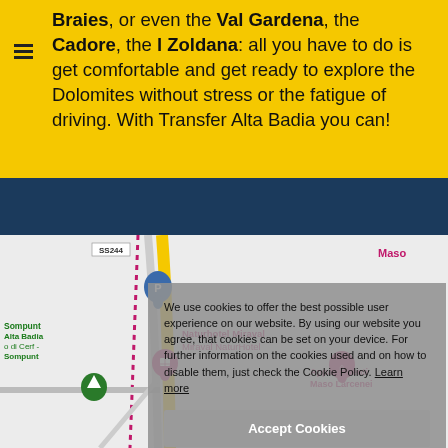Braies, or even the Val Gardena, the Cadore, the l Zoldana: all you have to do is get comfortable and get ready to explore the Dolomites without stress or the fatigue of driving. With Transfer Alta Badia you can!
[Figure (map): Google Maps embed showing area around Naturhotel Miraval / Miraval NaturHotel with road SS244, pins for parking (blue P), hotel (pink), green tree pin, and Appartamenti Maso Larcenei label. A cookie consent overlay covers the right portion.]
We use cookies to offer the best possible user experience on our website. By using our website you agree, that cookies can be set on your device. For further information on the cookies used and on how to disable them, just check the Cookie Policy. Learn more
Accept Cookies